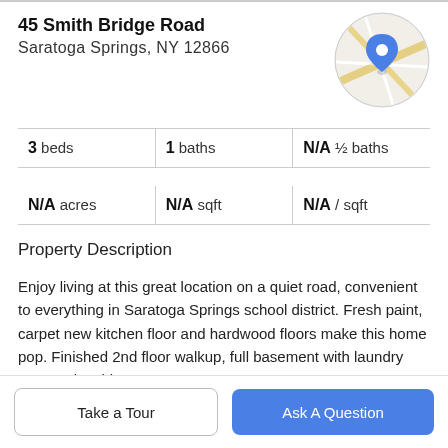45 Smith Bridge Road
Saratoga Springs, NY 12866
[Figure (map): Circular map thumbnail showing street map with blue location pin marker for 45 Smith Bridge Road, Saratoga Springs, NY]
3 beds | 1 baths | N/A ½ baths
N/A acres | N/A sqft | N/A / sqft
Property Description
Enjoy living at this great location on a quiet road, convenient to everything in Saratoga Springs school district. Fresh paint, carpet new kitchen floor and hardwood floors make this home pop. Finished 2nd floor walkup, full basement with laundry area and a side
Take a Tour
Ask A Question